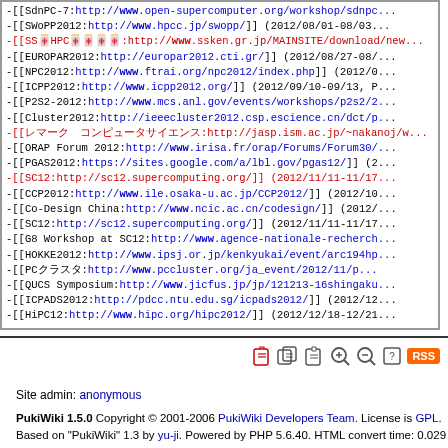-[[SdnPC-7:http://www.open-supercomputer.org/workshop/sdnpc...
-[[SWoPP2012:http://www.hpcc.jp/swopp/]] (2012/08/01-08/03...
-[[SS HPC:http://www.ssken.gr.jp/MAINSITE/download/new...
-[[EUROPAR2012:http://europar2012.cti.gr/]] (2012/08/27-08/...
-[[NPC2012:http://www.ftrai.org/npc2012/index.php]] (2012/0...
-[[ICPP2012:http://www.icpp2012.org/]] (2012/09/10-09/13, P...
-[[P2S2-2012:http://www.mcs.anl.gov/events/workshops/p2s2/2...
-[[Cluster2012:http://ieeecluster2012.csp.escience.cn/dct/p...
-[[「」:http://jasp.ism.ac.jp/~nakanoj/w...
-[[ORAP Forum 2012:http://www.irisa.fr/orap/Forums/Forum30/...
-[[PGAS2012:https://sites.google.com/a/lbl.gov/pgas12/]] (2...
-[[SC12:http://sc12.supercomputing.org/]] (2012/11/11-11/17...
-[[CCP2012:http://www.ile.osaka-u.ac.jp/CCP2012/]] (2012/10...
-[[Co-Design China:http://www.ncic.ac.cn/codesign/]] (2012/...
-[[SC12:http://sc12.supercomputing.org/]] (2012/11/11-11/17...
-[[G8 Workshop at SC12:http://www.agence-nationale-recherch...
-[[HOKKE2012:http://www.ipsj.or.jp/kenkyukai/event/arc194hp...
-[[PCクラスタ:http://www.pccluster.org/ja_event/2012/11/p...
-[[QUCS Symposium:http://www.jicfus.jp/jp/121213-16shingaku...
-[[ICPADS2012:http://pdcc.ntu.edu.sg/icpads2012/]] (2012/12...
-[[HiPC12:http://www.hipc.org/hipc2012/]] (2012/12/18-12/21...
Site admin: anonymous
PukiWiki 1.5.0 Copyright © 2001-2006 PukiWiki Developers Team. License is GPL. Based on "PukiWiki" 1.3 by yu-ji. Powered by PHP 5.6.40. HTML convert time: 0.029 sec.